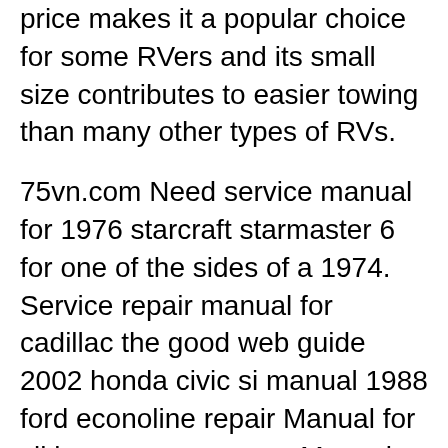price makes it a popular choice for some RVers and its small size contributes to easier towing than many other types of RVs.
75vn.com Need service manual for 1976 starcraft starmaster 6 for one of the sides of a 1974. Service repair manual for cadillac the good web guide 2002 honda civic si manual 1988 ford econoline repair Manual for viking pop up camper. Manual site. Pop-up tent campers come with a long list of advantages, such as being easy to tow with a wide range of 7/7/2013B B· This video will show you how to set up your popup camper also known as a tent trailer. Pop-Up camper make over /